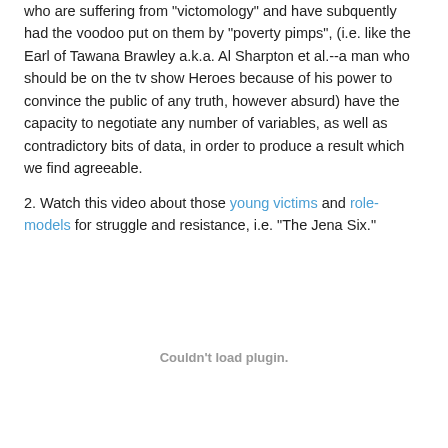who are suffering from "victomology" and have subquently had the voodoo put on them by "poverty pimps", (i.e. like the Earl of Tawana Brawley a.k.a. Al Sharpton et al.--a man who should be on the tv show Heroes because of his power to convince the public of any truth, however absurd) have the capacity to negotiate any number of variables, as well as contradictory bits of data, in order to produce a result which we find agreeable.
2. Watch this video about those young victims and role-models for struggle and resistance, i.e. "The Jena Six."
[Figure (other): Couldn't load plugin. — embedded video plugin placeholder]